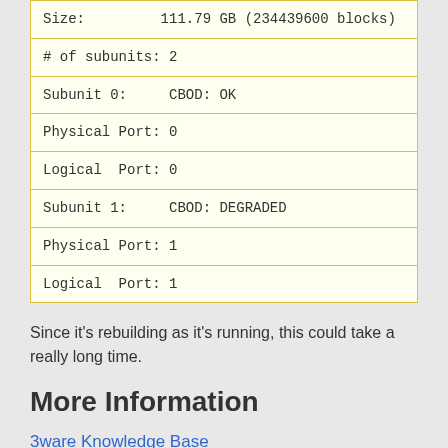| Size:         111.79 GB (234439600 blocks) |
| # of subunits: 2 |
| Subunit 0:      CBOD: OK |
| Physical Port: 0 |
| Logical  Port: 0 |
| Subunit 1:      CBOD: DEGRADED |
| Physical Port: 1 |
| Logical  Port: 1 |
Since it's rebuilding as it's running, this could take a really long time.
More Information
3ware Knowledge Base